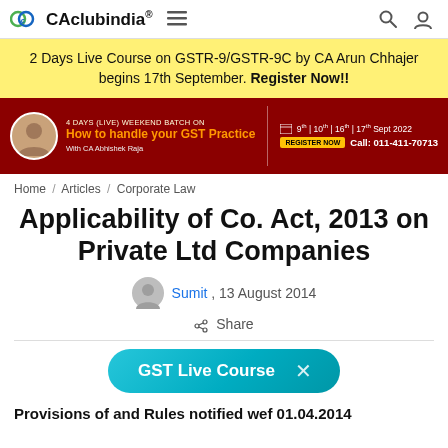CAclubindia®
2 Days Live Course on GSTR-9/GSTR-9C by CA Arun Chhajer begins 17th September. Register Now!!
[Figure (infographic): Red banner advertisement: 4 Days (Live) Weekend Batch on How to handle your GST Practice with CA Abhishek Raja. Dates: 9th | 10th | 16th | 17th Sept 2022. Register Now. Call: 011-411-70713]
Home / Articles / Corporate Law
Applicability of Co. Act, 2013 on Private Ltd Companies
Sumit , 13 August 2014
Share
[Figure (infographic): GST Live Course pill/button overlay with X close button]
Provisions of and Rules notified wef 01.04.2014